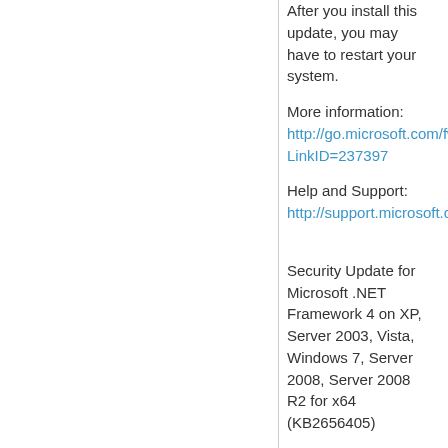After you install this update, you may have to restart your system.
More information:
http://go.microsoft.com/fwlink/?LinkID=237397
Help and Support:
http://support.microsoft.com
Security Update for Microsoft .NET Framework 4 on XP, Server 2003, Vista, Windows 7, Server 2008, Server 2008 R2 for x64 (KB2656405)
Download size: 11.7 MB
You may need to restart your computer for this update to take effect.
Update type: Important